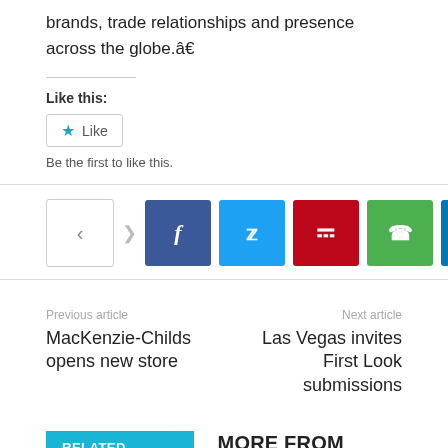brands, trade relationships and presence across the globe.â€
Like this:
[Figure (other): Like button widget with star icon and text 'Like', followed by text 'Be the first to like this.']
[Figure (other): Social share buttons row: share icon box, arrow, then Facebook (blue), Twitter (light blue), Pinterest (red), WhatsApp (green), LinkedIn (dark blue) buttons]
Previous article
MacKenzie-Childs opens new store
Next article
Las Vegas invites First Look submissions
RELATED ARTICLES
MORE FROM AUTHOR